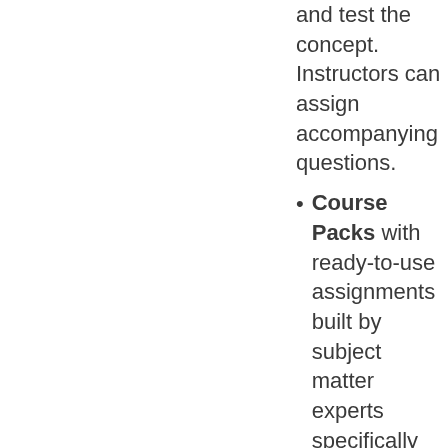and test the concept. Instructors can assign accompanying questions.
Course Packs with ready-to-use assignments built by subject matter experts specifically for this textbook are designed to save you time and can be easily customized to meet your teaching goals.
Instructor and student resources include Lecture Videos, PowerPoint